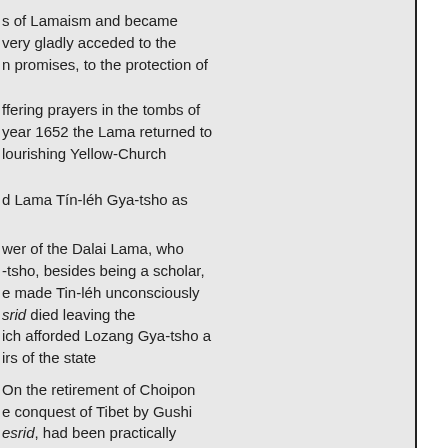s of Lamaism and became very gladly acceded to the n promises, to the protection of
ffering prayers in the tombs of year 1652 the Lama returned to lourishing Yellow-Church
d Lama Tín-léh Gya-tsho as
wer of the Dalai Lama, who -tsho, besides being a scholar, e made Tin-léh unconsciously srid died leaving the ich afforded Lozang Gya-tsho a irs of the state
On the retirement of Choipon e conquest of Tibet by Gushi esrid, had been practically ered as the holiest man op the Emperor of China. He was